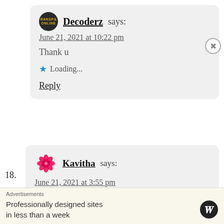Decoderz says:
June 21, 2021 at 10:22 pm
Thank u
Loading...
Reply
18.
Kavitha says:
June 21, 2021 at 3:55 pm
Good effort 🔥🔥
Advertisements
Professionally designed sites in less than a week